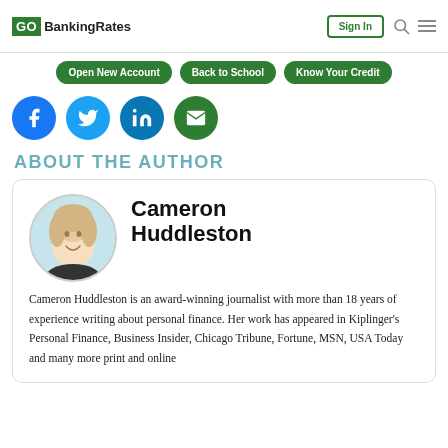GOBankingRates | Sign In
[Figure (screenshot): Navigation bar with green buttons: Open New Account, Back to School, Know Your Credit]
[Figure (infographic): Social media share icons: Facebook (blue), Twitter (light blue), LinkedIn (dark blue), Email (green)]
ABOUT THE AUTHOR
[Figure (photo): Circular headshot photo of Cameron Huddleston, a woman with blonde hair, smiling, illustrated style with light blue background]
Cameron Huddleston
Cameron Huddleston is an award-winning journalist with more than 18 years of experience writing about personal finance. Her work has appeared in Kiplinger's Personal Finance, Business Insider, Chicago Tribune, Fortune, MSN, USA Today and many more print and online